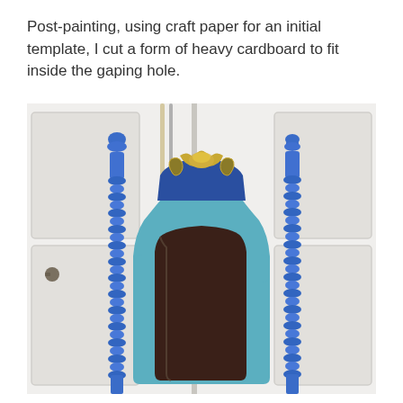Post-painting, using craft paper for an initial template, I cut a form of heavy cardboard to fit inside the gaping hole.
[Figure (photo): A decorated headboard painted in teal/blue with gold ornamental crest at top, featuring two blue spiral/barley-twist spindle posts on either side, and a dark brown/chocolate colored insert panel in the center. The headboard is photographed in front of a white paneled door.]